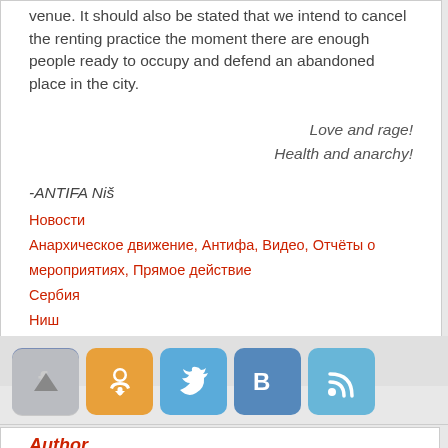venue. It should also be stated that we intend to cancel the renting practice the moment there are enough people ready to occupy and defend an abandoned place in the city.
Love and rage!
Health and anarchy!
-ANTIFA Niš
Новости
Анархическое движение, Антифа, Видео, Отчёты о мероприятиях, Прямое действие
Сербия
Ниш
Русский
[Figure (infographic): Social media sharing buttons: Facebook, Odnoklassniki, Twitter, VKontakte, RSS feed icons, with a back-to-top scroll button overlay]
Author